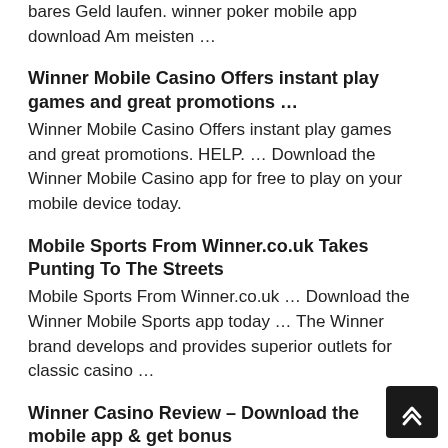bares Geld laufen. winner poker mobile app download Am meisten …
Winner Mobile Casino Offers instant play games and great promotions …
Winner Mobile Casino Offers instant play games and great promotions. HELP. … Download the Winner Mobile Casino app for free to play on your mobile device today.
Mobile Sports From Winner.co.uk Takes Punting To The Streets
Mobile Sports From Winner.co.uk … Download the Winner Mobile Sports app today … The Winner brand develops and provides superior outlets for classic casino …
Winner Casino Review – Download the mobile app & get bonus
You can find a lot of promotions at Winner Casino